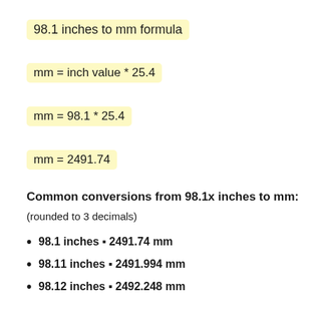98.1 inches to mm formula
Common conversions from 98.1x inches to mm:
(rounded to 3 decimals)
98.1 inches = 2491.74 mm
98.11 inches = 2491.994 mm
98.12 inches = 2492.248 mm